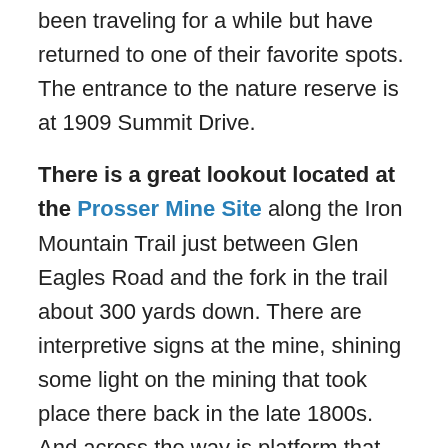been traveling for a while but have returned to one of their favorite spots. The entrance to the nature reserve is at 1909 Summit Drive.
There is a great lookout located at the Prosser Mine Site along the Iron Mountain Trail just between Glen Eagles Road and the fork in the trail about 300 yards down. There are interpretive signs at the mine, shining some light on the mining that took place there back in the late 1800s. And across the way is platform that looks out over the Oswego Hunt and much of Lake Oswego. It's a welcome reward for hikers who venture to the top of Iron Mountain.
Walking around Lake Oswego never gets boring. Since the pandemic hit, my wife and I have walked at least 3-5 miles every day, usually starting from our home and